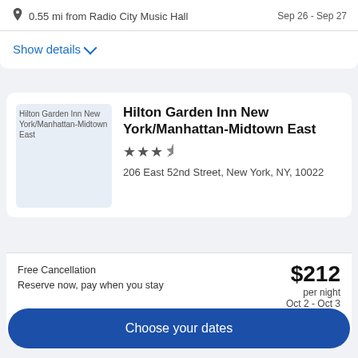0.55 mi from Radio City Music Hall
Sep 26 - Sep 27
Show details
Hilton Garden Inn New York/Manhattan-Midtown East
206 East 52nd Street, New York, NY, 10022
Free Cancellation
Reserve now, pay when you stay
$212 per night
Oct 2 - Oct 3
0.61 mi from Radio City Music Hall
Choose your dates